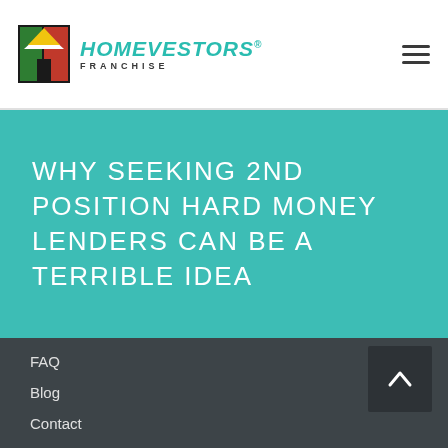[Figure (logo): HomeVestors Franchise logo with house icon and teal text]
WHY SEEKING 2ND POSITION HARD MONEY LENDERS CAN BE A TERRIBLE IDEA
FAQ
Blog
Contact
Privacy Policy